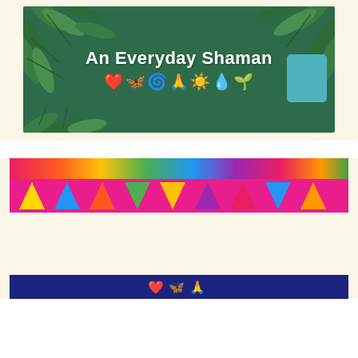[Figure (illustration): Banner image with dark green background and tropical leaf decorations. White bold text reads 'An Everyday Shaman' with emoji row below: red heart, blue butterfly, green spiral, praying hands, sun, rain/drops, green sprout.]
[Figure (illustration): Colorful banner with rainbow stripes and vibrant shapes at top, partially visible. Bottom portion shows dark blue background with red heart, blue butterfly, and praying hands emojis.]
Privacy & Cookies: This site uses cookies. By continuing to use this website, you agree to their use.
To find out more, including how to control cookies, see here: Cookie Policy
Close and accept